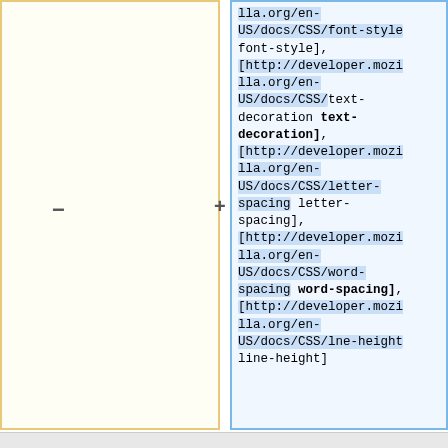- [left panel, collapsed tree node]
[http://developer.mozilla.org/en-US/docs/CSS/font-style font-style], [http://developer.mozilla.org/en-US/docs/CSS/text-decoration text-decoration], [http://developer.mozilla.org/en-US/docs/CSS/letter-spacing letter-spacing], [http://developer.mozilla.org/en-US/docs/CSS/word-spacing word-spacing], [http://developer.mozilla.org/en-US/docs/CSS/lne-height line-height]